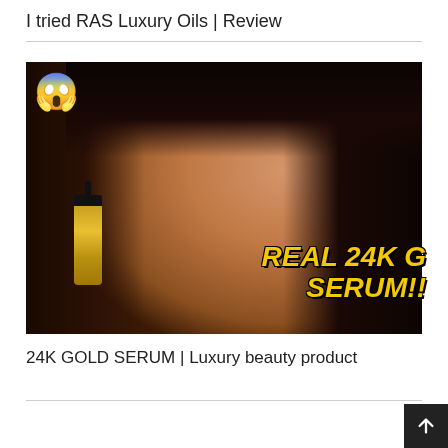I tried RAS Luxury Oils | Review
[Figure (photo): Woman holding a gold dropper bottle serum, with a shocked emoji overlay in the top-left corner and text overlay reading 'REAL 24K GOLD SERUM!!' in yellow bold italic font on the right side of the image]
24K GOLD SERUM | Luxury beauty product
[Figure (photo): Bottom thumbnail strip showing a partial view of another photo, with a dark scroll-to-top arrow button in the bottom-right corner]